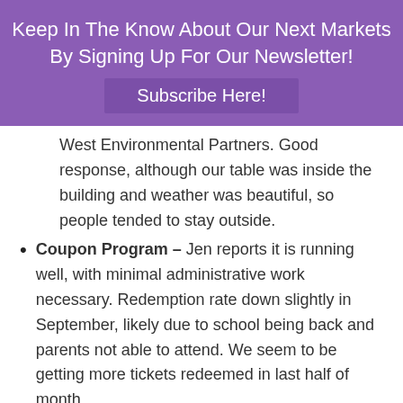Keep In The Know About Our Next Markets By Signing Up For Our Newsletter!
Subscribe Here!
West Environmental Partners. Good response, although our table was inside the building and weather was beautiful, so people tended to stay outside.
Coupon Program – Jen reports it is running well, with minimal administrative work necessary. Redemption rate down slightly in September, likely due to school being back and parents not able to attend. We seem to be getting more tickets redeemed in last half of month.
New Business: